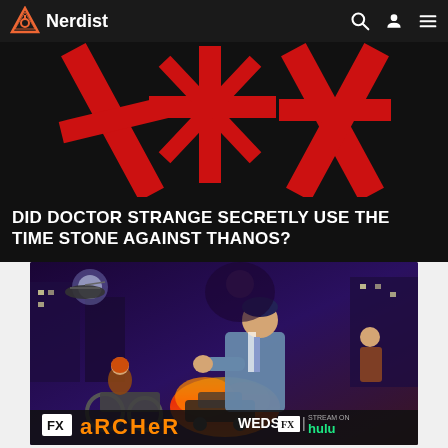Nerdist
[Figure (screenshot): Dark background with large red stylized AK-47 / arrow logo mark graphic]
DID DOCTOR STRANGE SECRETLY USE THE TIME STONE AGAINST THANOS?
[Figure (illustration): Archer animated TV show promotional poster. Shows Archer character in suit in foreground, other characters around him in action scene with fire and explosions. Bottom shows FX Archer logo, WEDS FX, Stream on Hulu branding.]